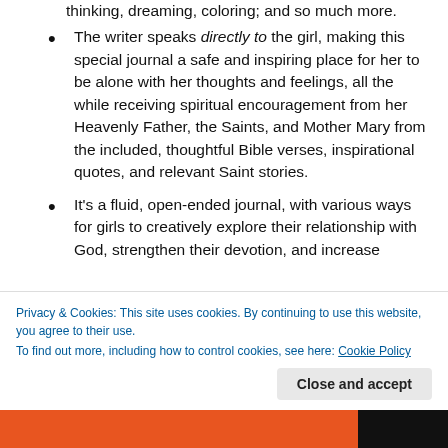thinking, dreaming, coloring; and so much more.
The writer speaks directly to the girl, making this special journal a safe and inspiring place for her to be alone with her thoughts and feelings, all the while receiving spiritual encouragement from her Heavenly Father, the Saints, and Mother Mary from the included, thoughtful Bible verses, inspirational quotes, and relevant Saint stories.
It's a fluid, open-ended journal, with various ways for girls to creatively explore their relationship with God, strengthen their devotion, and increase
Privacy & Cookies: This site uses cookies. By continuing to use this website, you agree to their use.
To find out more, including how to control cookies, see here: Cookie Policy
Close and accept